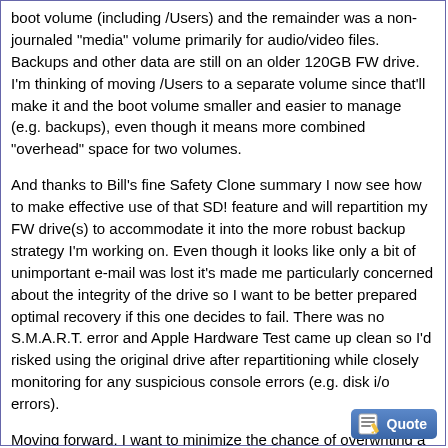boot volume (including /Users) and the remainder was a non-journaled "media" volume primarily for audio/video files. Backups and other data are still on an older 120GB FW drive. I'm thinking of moving /Users to a separate volume since that'll make it and the boot volume smaller and easier to manage (e.g. backups), even though it means more combined "overhead" space for two volumes.
And thanks to Bill's fine Safety Clone summary I now see how to make effective use of that SD! feature and will repartition my FW drive(s) to accommodate it into the more robust backup strategy I'm working on. Even though it looks like only a bit of unimportant e-mail was lost it's made me particularly concerned about the integrity of the drive so I want to be better prepared optimal recovery if this one decides to fail. There was no S.M.A.R.T. error and Apple Hardware Test came up clean so I'd risked using the original drive after repartitioning while closely monitoring for any suspicious console errors (e.g. disk i/o errors).
Moving forward, I want to minimize the chance of overwriting a good SD! clone (for example) with bad data in an automated backup environment; about a week's worth of rollback possibility will be sufficient. And important data can be copied to another system for redundancy. Still working out details for using SD! along with some kind of "incremental" backups. Even with the new 250GB drive I'd rather not save more data (e.g. cloned images) than necessary.